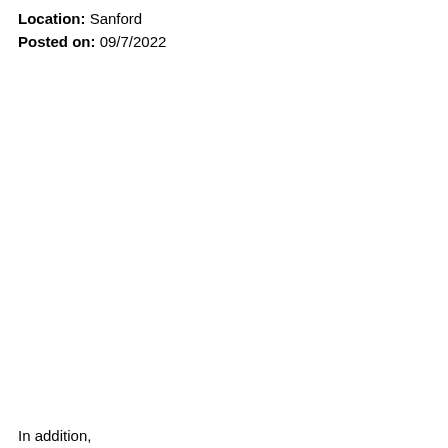Location: Sanford
Posted on: 09/7/2022
In addition,